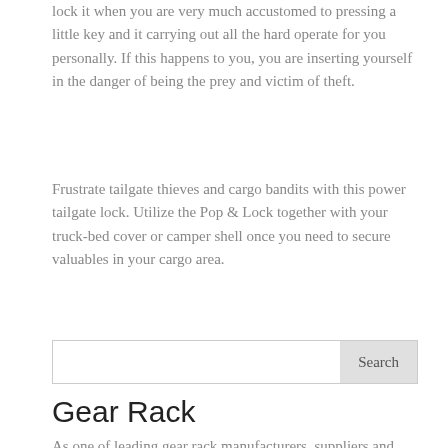lock it when you are very much accustomed to pressing a little key and it carrying out all the hard operate for you personally. If this happens to you, you are inserting yourself in the danger of being the prey and victim of theft.
Frustrate tailgate thieves and cargo bandits with this power tailgate lock. Utilize the Pop & Lock together with your truck-bed cover or camper shell once you need to secure valuables in your cargo area.
Search
Gear Rack
As one of leading gear rack manufacturers, suppliers and exporters of mechanical products, We offer gear